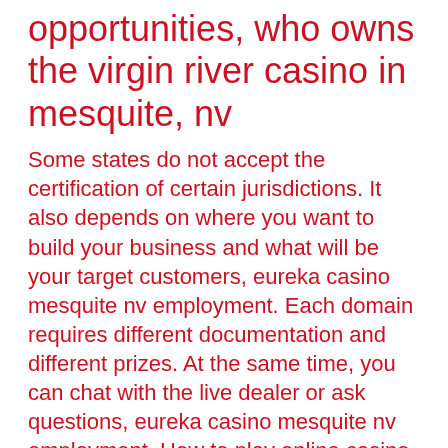opportunities, who owns the virgin river casino in mesquite, nv
Some states do not accept the certification of certain jurisdictions. It also depends on where you want to build your business and what will be your target customers, eureka casino mesquite nv employment. Each domain requires different documentation and different prizes. At the same time, you can chat with the live dealer or ask questions, eureka casino mesquite nv employment. How to play online casino games in demo mode, casino hotels in mesquite nevada. Aya healthcare has an immediate opening for the following position: medical surgical registered nurse in mesquite, nevada. This is a 13-week contract